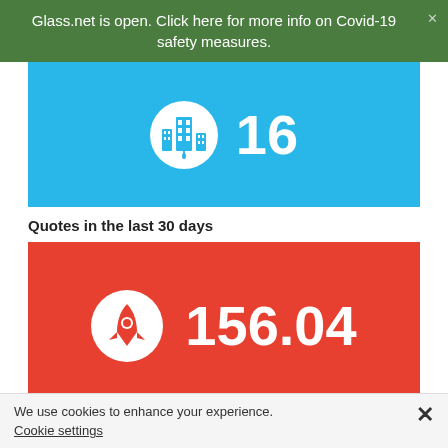Glass.net is open. Click here for more info on Covid-19 safety measures.
[Figure (infographic): Blue card with city/glass icon and number 16]
Quotes in the last 30 days
[Figure (infographic): Red card with rocket/logo icon and number 156.04]
We use cookies to enhance your experience.
Cookie settings